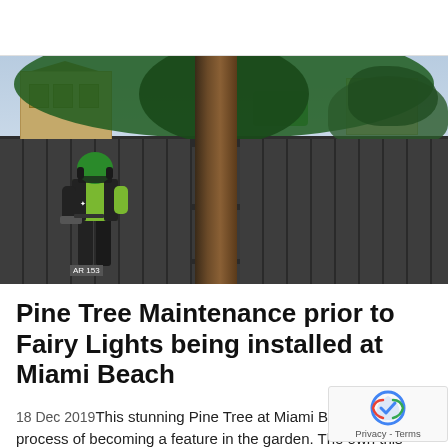[Figure (photo): A worker wearing a green and black high-visibility jacket and green helmet stands beside a large pine tree trunk, holding a chainsaw. A dark grey wooden fence runs across the background. Pine tree foliage fills the upper portion of the image. A green piece of equipment is visible behind the fence. Buildings and sky are visible in the upper background.]
Pine Tree Maintenance prior to Fairy Lights being installed at Miami Beach
18 Dec 2019This stunning Pine Tree at Miami Beach is process of becoming a feature in the garden. The own this residential